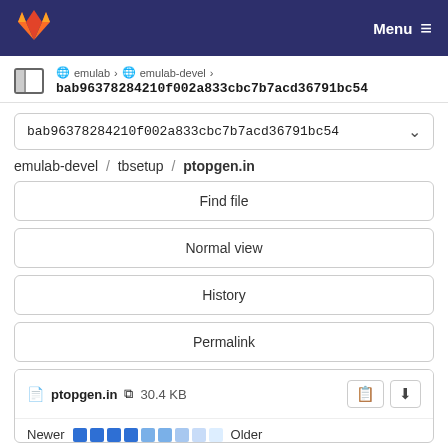GitLab navigation bar with Menu
emulab › emulab-devel › bab96378284210f002a833cbc7b7acd36791bc54
bab96378284210f002a833cbc7b7acd36791bc54
emulab-devel / tbsetup / ptopgen.in
Find file
Normal view
History
Permalink
ptopgen.in  30.4 KB
Newer  Older